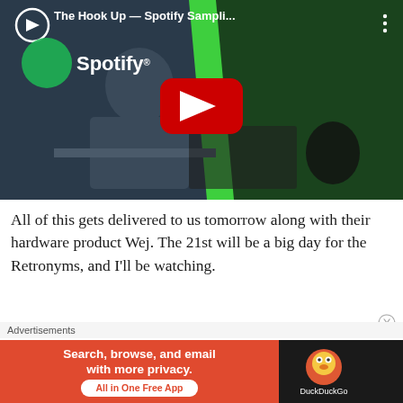[Figure (screenshot): YouTube video thumbnail showing 'The Hook Up — Spotify Sampli...' with Spotify branding, a person at a desk, green overlay, and a red YouTube play button in the center.]
All of this gets delivered to us tomorrow along with their hardware product Wej. The 21st will be a big day for the Retronyms, and I'll be watching.
But as I've watched the videos, read the press releases and also played with the app itself
[Figure (screenshot): Advertisement banner: 'Search, browse, and email with more privacy. All in One Free App' on orange background with DuckDuckGo logo on dark background.]